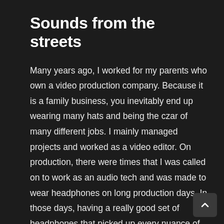Sounds from the streets
Many years ago, I worked for my parents who own a video production company. Because it is a family business, you inevitably end up wearing many hats and being the czar of many different jobs. I mainly managed projects and worked as a video editor. On production, there were times that I was called on to work as an audio tech and was made to wear headphones on long production days. In those days, having a really good set of headphones that picked up every nuance of sound was essential to making sure the client got what they needed.